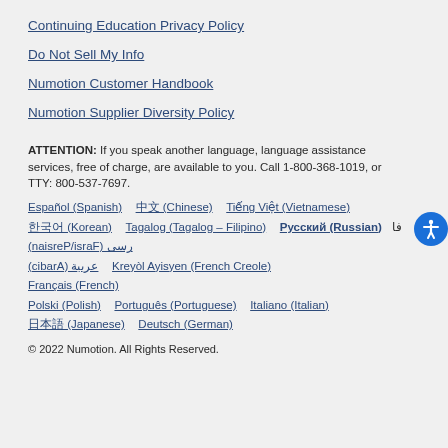Continuing Education Privacy Policy
Do Not Sell My Info
Numotion Customer Handbook
Numotion Supplier Diversity Policy
ATTENTION: If you speak another language, language assistance services, free of charge, are available to you. Call 1-800-368-1019, or TTY: 800-537-7697.
Español (Spanish)  中文 (Chinese)  Tiếng Việt (Vietnamese)  한국어 (Korean)  Tagalog (Tagalog – Filipino)  Русский (Russian)  فارسی (Farsi/Persian)  عربية (Arabic)  Kreyòl Ayisyen (French Creole)  Français (French)  Polski (Polish)  Português (Portuguese)  Italiano (Italian)  日本語 (Japanese)  Deutsch (German)
© 2022 Numotion. All Rights Reserved.